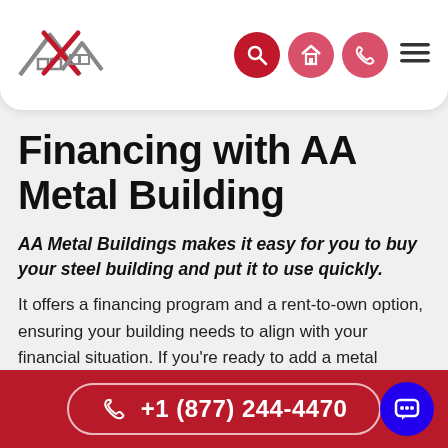[Figure (logo): AA Metal Buildings logo with house/roof icon in gray and red, and nav icons (search, home, phone) as red circles plus hamburger menu]
Financing with AA Metal Building
AA Metal Buildings makes it easy for you to buy your steel building and put it to use quickly.
It offers a financing program and a rent-to-own option, ensuring your building needs to align with your financial situation. If you're ready to add a metal building to your life, but you're not quite ready to pay outright for it, no worries. We're proud to offer financing programs that work for every buyer!
+1 (877) 244-4470